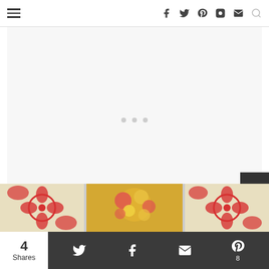Navigation bar with hamburger menu and social icons (Facebook, Twitter, Pinterest, Instagram, Email, Search)
[Figure (other): White/light grey blank content area with three small grey dots indicating an ad placeholder]
[Figure (photo): Photo strip showing decorative wall art panels with red damask and floral patterns on cream/tan background]
4 Shares | Twitter share | Facebook share | Email share | Pinterest 8